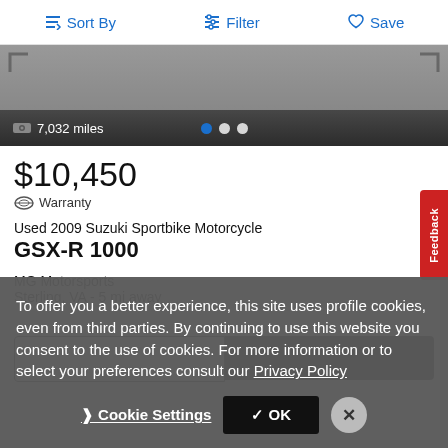Sort By   Filter   Save
[Figure (screenshot): Motorcycle listing image area showing partial vehicle photo with dark gradient overlay showing 7,032 miles and navigation dots]
$10,450
Warranty
Used 2009 Suzuki Sportbike Motorcycle
GSX-R 1000
MG Motorsports
Sterling, VA - 5 mi away
To offer you a better experience, this site uses profile cookies, even from third parties. By continuing to use this website you consent to the use of cookies. For more information or to select your preferences consult our Privacy Policy
Cookie Settings   ✓ OK